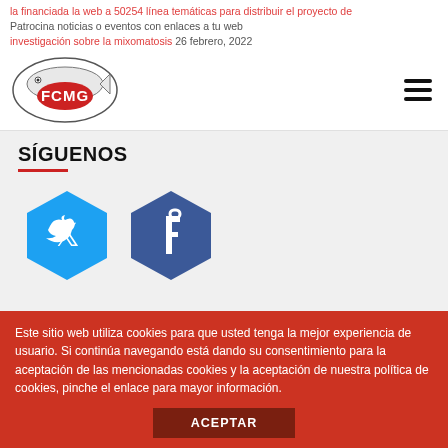la financiada la web a 50254 línea temáticas para distribuir el proyecto de investigación sobre la mixomatosis 26 febrero, 2022
Patrocina noticias o eventos con enlaces a tu web
[Figure (logo): FCMG logo — oval shaped emblem with fish illustration and red FCMG text]
SÍGUENOS
[Figure (infographic): Twitter hexagon icon (cyan/blue) and Facebook hexagon icon (blue) social media buttons]
SOBRE NOSOTROS
Este sitio web utiliza cookies para que usted tenga la mejor experiencia de usuario. Si continúa navegando está dando su consentimiento para la aceptación de las mencionadas cookies y la aceptación de nuestra política de cookies, pinche el enlace para mayor información.
ACEPTAR